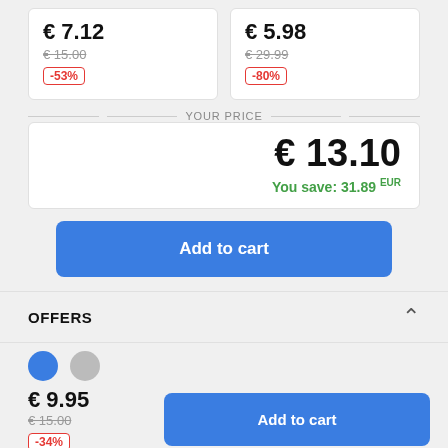€ 7.12 / € 15.00 / -53%
€ 5.98 / € 29.99 / -80%
YOUR PRICE
€ 13.10
You save: 31.89 EUR
Add to cart
OFFERS
€ 9.95
€ 15.00 / -34%
Add to cart